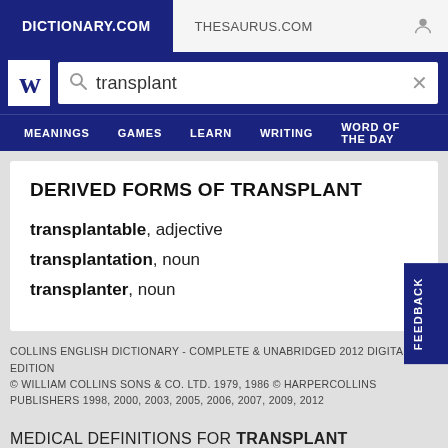DICTIONARY.COM | THESAURUS.COM
[Figure (screenshot): Dictionary.com search bar with 'transplant' entered]
MEANINGS | GAMES | LEARN | WRITING | WORD OF THE DAY
DERIVED FORMS OF TRANSPLANT
transplantable, adjective
transplantation, noun
transplanter, noun
COLLINS ENGLISH DICTIONARY - COMPLETE & UNABRIDGED 2012 DIGITAL EDITION
© WILLIAM COLLINS SONS & CO. LTD. 1979, 1986 © HARPERCOLLINS PUBLISHERS 1998, 2000, 2003, 2005, 2006, 2007, 2009, 2012
MEDICAL DEFINITIONS FOR TRANSPLANT